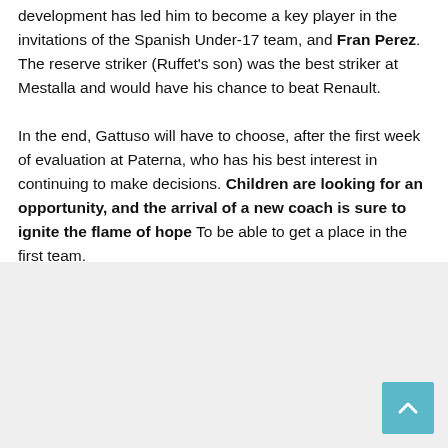development has led him to become a key player in the invitations of the Spanish Under-17 team, and Fran Perez. The reserve striker (Ruffet's son) was the best striker at Mestalla and would have his chance to beat Renault.

In the end, Gattuso will have to choose, after the first week of evaluation at Paterna, who has his best interest in continuing to make decisions. Children are looking for an opportunity, and the arrival of a new coach is sure to ignite the flame of hope To be able to get a place in the first team.
[Figure (other): Gray background area (lower portion of page, likely an advertisement or image placeholder)]